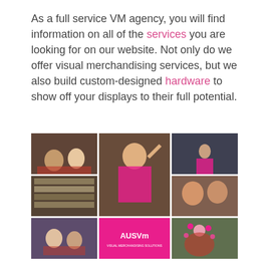As a full service VM agency, you will find information on all of the services you are looking for on our website. Not only do we offer visual merchandising services, but we also build custom-designed hardware to show off your displays to their full potential.
[Figure (photo): A collage of 8 photos showing retail merchandising staff and displays, including people at store displays, a tattooed woman waving, a person in a retail aisle, two women smiling, people in a store, a pink AUSVM branded shirt, two women posing, and a person with floral garlands.]